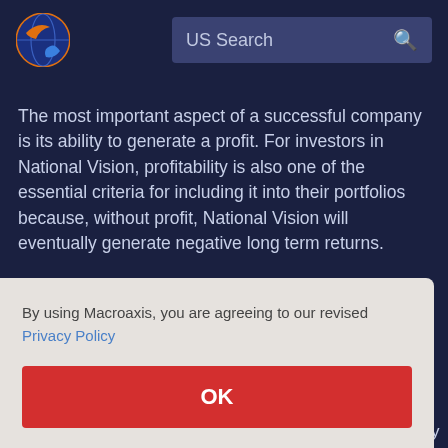[Figure (logo): Macroaxis globe logo — circular icon with orange and blue colors]
US Search
The most important aspect of a successful company is its ability to generate a profit. For investors in National Vision, profitability is also one of the essential criteria for including it into their portfolios because, without profit, National Vision will eventually generate negative long term returns.
By using Macroaxis, you are agreeing to our revised Privacy Policy
OK